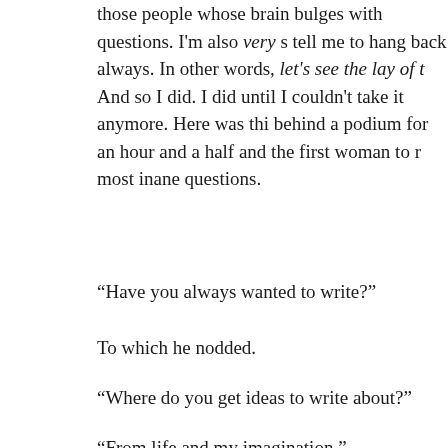those people whose brain bulges with questions. I'm also very s tell me to hang back always. In other words, let's see the lay of t And so I did. I did until I couldn't take it anymore. Here was thi behind a podium for an hour and a half and the first woman to r most inane questions.
“Have you always wanted to write?”
To which he nodded.
“Where do you get ideas to write about?”
“From life and my imagination.”
On a roll, she became an interviewer. Please don’t get me wrong interview but this was a very particular opportunity. Review-typ time. There was no room for anyone else to ask a question beca breath. This went on for nearly twenty minutes! I know. I sat fa